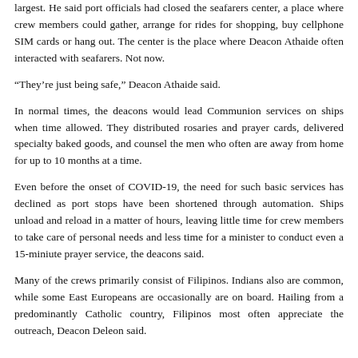largest. He said port officials had closed the seafarers center, a place where crew members could gather, arrange for rides for shopping, buy cellphone SIM cards or hang out. The center is the place where Deacon Athaide often interacted with seafarers. Not now.
“They’re just being safe,” Deacon Athaide said.
In normal times, the deacons would lead Communion services on ships when time allowed. They distributed rosaries and prayer cards, delivered specialty baked goods, and counsel the men who often are away from home for up to 10 months at a time.
Even before the onset of COVID-19, the need for such basic services has declined as port stops have been shortened through automation. Ships unload and reload in a matter of hours, leaving little time for crew members to take care of personal needs and less time for a minister to conduct even a 15-miniute prayer service, the deacons said.
Many of the crews primarily consist of Filipinos. Indians also are common, while some East Europeans are occasionally are on board. Hailing from a predominantly Catholic country, Filipinos most often appreciate the outreach, Deacon Deleon said.